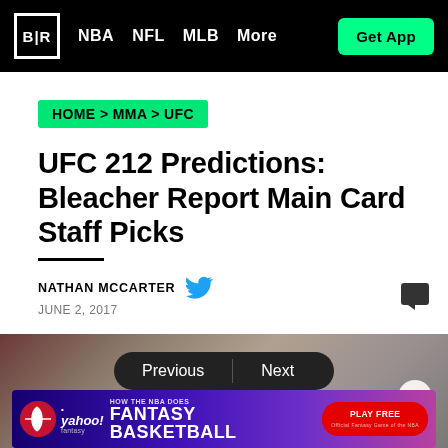B|R  NBA  NFL  MLB  More  Get App
HOME > MMA > UFC
UFC 212 Predictions: Bleacher Report Main Card Staff Picks
NATHAN MCCARTER  JUNE 2, 2017
[Figure (photo): Blurred hero image of UFC fighters with Previous/Next navigation buttons overlay and a Yahoo Fantasy Basketball advertisement banner]
Previous / Next navigation. Yahoo Fantasy Basketball ad: HOW THE NBA DOES FANTASY BASKETBALL PLAY FREE